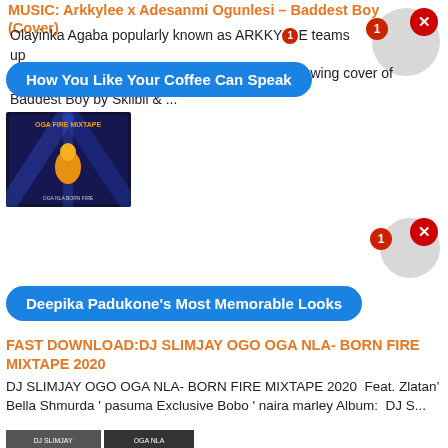MUSIC: Arkkylee x Adesanmi Ogunlesi – Baddest Boy (Cover)
Olayinka Agaba popularly known as ARKKYLEE teams up ... following cover of Baddest Boy by Skiibii & ...
[Figure (screenshot): Blue notification bar: How You Like Your Coffee Can Speak]
[Figure (screenshot): Notification circles with badge 1 and close X]
[Figure (photo): Album cover thumbnail - OGA FIRE MIXTAPE]
[Figure (screenshot): Blue notification bar: Deepika Padukone's Most Memorable Looks]
FAST DOWNLOAD:DJ SLIMJAY OGO OGA NLA- BORN FIRE MIXTAPE 2020
DJ SLIMJAY OGO OGA NLA- BORN FIRE MIXTAPE 2020  Feat. Zlatan' Bella Shmurda ' pasuma Exclusive Bobo ' naira marley Album:  DJ S...
[Figure (photo): Two thumbnail images from DJ Slimjay mixtape]
[Figure (photo): Three thumbnail images from DJ Slimjay mixtape]
[Movie] Download All the Episodes of Selina tested from this page #Arewapublisize
On this page, you will have access to download all the Episode of The famous Nigerian movie series 'Selina Tested' starting from ...
[Figure (photo): Movie thumbnail - Selina Tested]